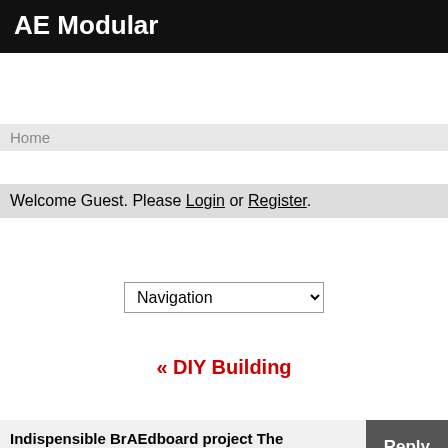AE Modular
Home
Welcome Guest. Please Login or Register.
Navigation
« DIY Building
Indispensible BrAEdboard project The comparator.
« Prev 1 2 3 Next »
pt3r
Admin Member
Jun 8, 2022 at 9:18am
I see, so it's best to order headers and pots from somewhere else? Or do you remove those from the BOM to make sure they're not part of the pcb assembly?
namke